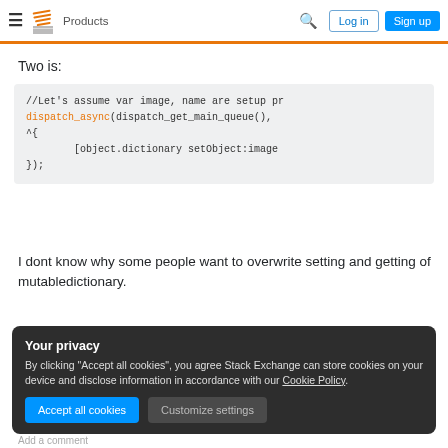≡  [Stack Overflow logo]  Products  🔍  Log in  Sign up
Two is:
[Figure (screenshot): Code block showing Objective-C dispatch_async code snippet with syntax highlighting. Orange: dispatch_async. Black: //Let's assume var image, name are setup pr, dispatch_async(dispatch_get_main_queue(),, ^{, [object.dictionary setObject:image, });]
I dont know why some people want to overwrite setting and getting of mutabledictionary.
Your privacy
By clicking "Accept all cookies", you agree Stack Exchange can store cookies on your device and disclose information in accordance with our Cookie Policy.
Accept all cookies  Customize settings